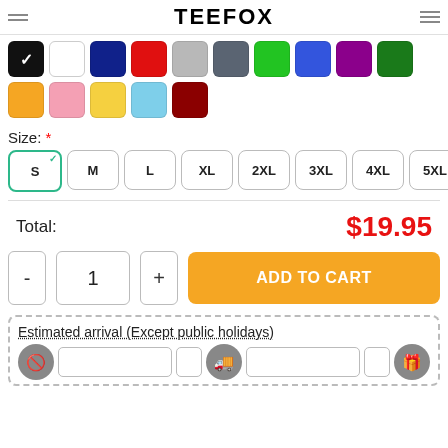TEEFOX
[Figure (other): Color swatches: black (selected), white, navy, red, light gray, dark gray, green, royal blue, purple, dark green, orange, pink, yellow, light blue, dark red]
Size: *
[Figure (other): Size selector buttons: S (selected), M, L, XL, 2XL, 3XL, 4XL, 5XL]
Total: $19.95
[Figure (other): Quantity selector (- 1 +) and Add to Cart button]
Estimated arrival (Except public holidays)